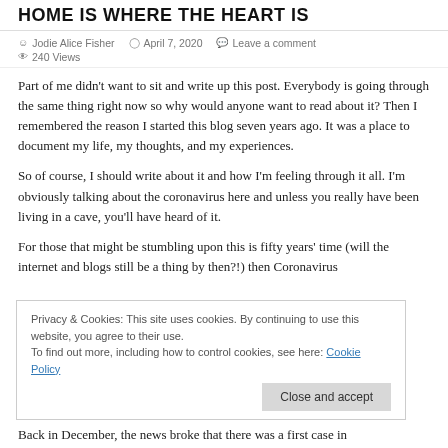HOME IS WHERE THE HEART IS
Jodie Alice Fisher   April 7, 2020   Leave a comment   240 Views
Part of me didn't want to sit and write up this post. Everybody is going through the same thing right now so why would anyone want to read about it? Then I remembered the reason I started this blog seven years ago. It was a place to document my life, my thoughts, and my experiences.
So of course, I should write about it and how I'm feeling through it all. I'm obviously talking about the coronavirus here and unless you really have been living in a cave, you'll have heard of it.
For those that might be stumbling upon this is fifty years' time (will the internet and blogs still be a thing by then?!) then Coronavirus
Privacy & Cookies: This site uses cookies. By continuing to use this website, you agree to their use.
To find out more, including how to control cookies, see here: Cookie Policy
Back in December, the news broke that there was a first case in